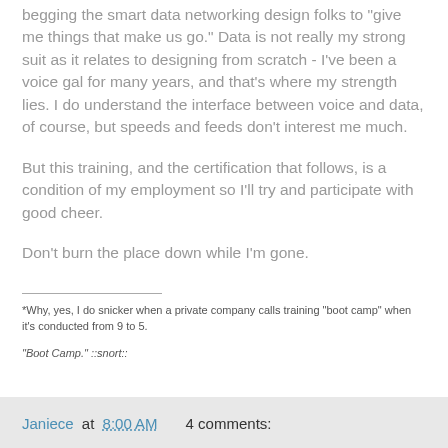begging the smart data networking design folks to "give me things that make us go." Data is not really my strong suit as it relates to designing from scratch - I've been a voice gal for many years, and that's where my strength lies. I do understand the interface between voice and data, of course, but speeds and feeds don't interest me much.
But this training, and the certification that follows, is a condition of my employment so I'll try and participate with good cheer.
Don't burn the place down while I'm gone.
*Why, yes, I do snicker when a private company calls training "boot camp" when it's conducted from 9 to 5.
"Boot Camp." ::snort::
Janiece at 8:00 AM    4 comments: